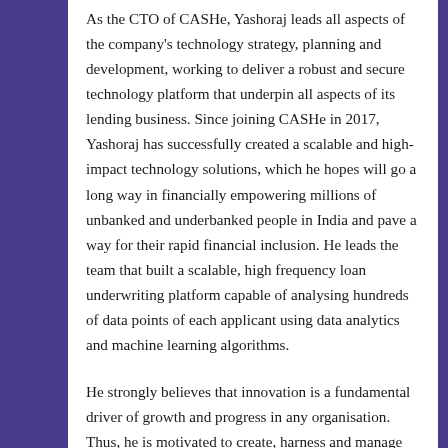As the CTO of CASHe, Yashoraj leads all aspects of the company's technology strategy, planning and development, working to deliver a robust and secure technology platform that underpin all aspects of its lending business. Since joining CASHe in 2017, Yashoraj has successfully created a scalable and high-impact technology solutions, which he hopes will go a long way in financially empowering millions of unbanked and underbanked people in India and pave a way for their rapid financial inclusion. He leads the team that built a scalable, high frequency loan underwriting platform capable of analysing hundreds of data points of each applicant using data analytics and machine learning algorithms.
He strongly believes that innovation is a fundamental driver of growth and progress in any organisation. Thus, he is motivated to create, harness and manage technology such that it benefits the masses and positively affects the world in which we live today. He is passionate about solving problems, be it at any level, and motivates his team and take the initiative to come up with long-